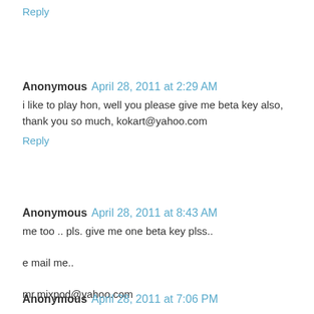Reply
Anonymous  April 28, 2011 at 2:29 AM
i like to play hon, well you please give me beta key also, thank you so much, kokart@yahoo.com
Reply
Anonymous  April 28, 2011 at 8:43 AM
me too .. pls. give me one beta key plss..

e mail me..

mr.mixpod@yahoo.com

thx.. :">
Reply
Anonymous  April 28, 2011 at 7:06 PM